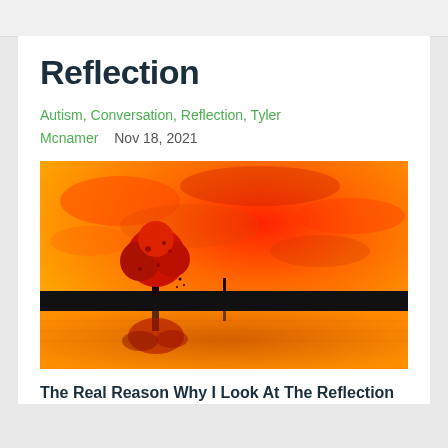Reflection
Autism, Conversation, Reflection, Tyler Mcnamer    Nov 18, 2021
[Figure (illustration): An artistic painting of a lone red-leafed tree and a small human figure standing on a dark shoreline, reflected in still water below, set against a dramatic fiery orange-red sky.]
The Real Reason Why I Look At The Reflection